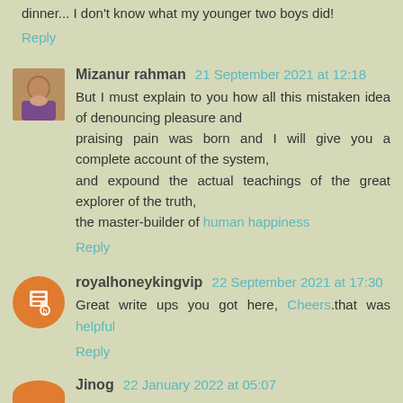dinner... I don't know what my younger two boys did!
Reply
Mizanur rahman 21 September 2021 at 12:18
But I must explain to you how all this mistaken idea of denouncing pleasure and praising pain was born and I will give you a complete account of the system, and expound the actual teachings of the great explorer of the truth, the master-builder of human happiness
Reply
royalhoneykingvip 22 September 2021 at 17:30
Great write ups you got here, Cheers.that was helpful
Reply
Jinog 22 January 2022 at 05:07